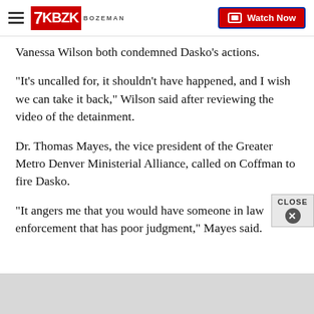7KBZK BOZEMAN | Watch Now
Vanessa Wilson both condemned Dasko's actions.
"It's uncalled for, it shouldn't have happened, and I wish we can take it back," Wilson said after reviewing the video of the detainment.
Dr. Thomas Mayes, the vice president of the Greater Metro Denver Ministerial Alliance, called on Coffman to fire Dasko.
"It angers me that you would have someone in law enforcement that has poor judgment," Mayes said.